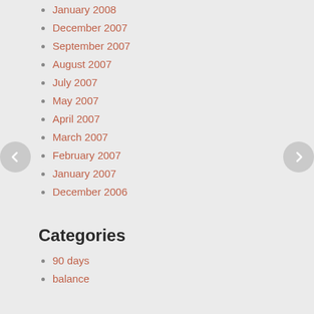January 2008
December 2007
September 2007
August 2007
July 2007
May 2007
April 2007
March 2007
February 2007
January 2007
December 2006
Categories
90 days
balance